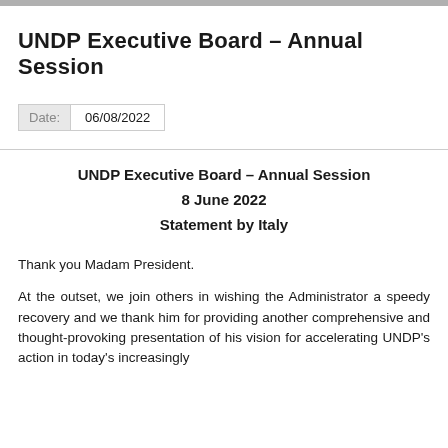UNDP Executive Board - Annual Session
Date: 06/08/2022
UNDP Executive Board - Annual Session
8 June 2022
Statement by Italy
Thank you Madam President.
At the outset, we join others in wishing the Administrator a speedy recovery and we thank him for providing another comprehensive and thought-provoking presentation of his vision for accelerating UNDP's action in today's increasingly